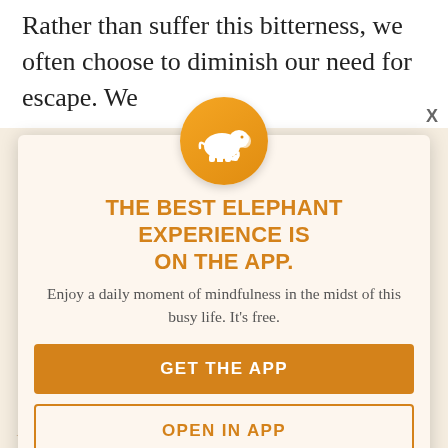Rather than suffer this bitterness, we often choose to diminish our need for escape. We
[Figure (logo): Elephant Journal app logo: white elephant silhouette on an orange/gold circle]
THE BEST ELEPHANT EXPERIENCE IS ON THE APP.
Enjoy a daily moment of mindfulness in the midst of this busy life. It's free.
GET THE APP
OPEN IN APP